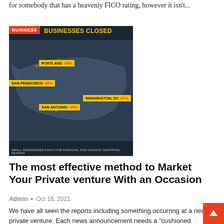for somebody that has a heavenly FICO rating, however it isn't...
[Figure (screenshot): News screenshot showing 'BUSINESSES CLOSED' map with cities: Portland -34%, San Francisco -49%, Washington DC -37%, San Antonio -34%. Red BUSINESS badge top left. Bottom text: SMALL BUSINESSES FIGHT FOR SURVIVAL THIS HOLIDAY SHOPPING SEASON.]
The most effective method to Market Your Private venture With an Occasion
Admin • Oct 16, 2021
We have all seen the reports including something occurring at a nearby private venture. Each news announcement needs a "cushioned creature"...
[Figure (screenshot): Partial image with BUSINESS badge in orange/red, rest of image is light grey (cut off at bottom of page).]